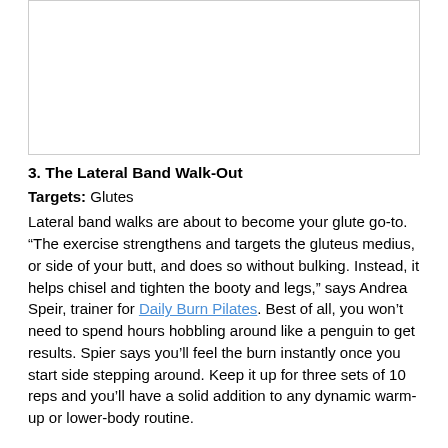[Figure (photo): Image placeholder area at top of page]
3. The Lateral Band Walk-Out
Targets: Glutes
Lateral band walks are about to become your glute go-to. “The exercise strengthens and targets the gluteus medius, or side of your butt, and does so without bulking. Instead, it helps chisel and tighten the booty and legs,” says Andrea Speir, trainer for Daily Burn Pilates. Best of all, you won’t need to spend hours hobbling around like a penguin to get results. Spier says you’ll feel the burn instantly once you start side stepping around. Keep it up for three sets of 10 reps and you’ll have a solid addition to any dynamic warm-up or lower-body routine.